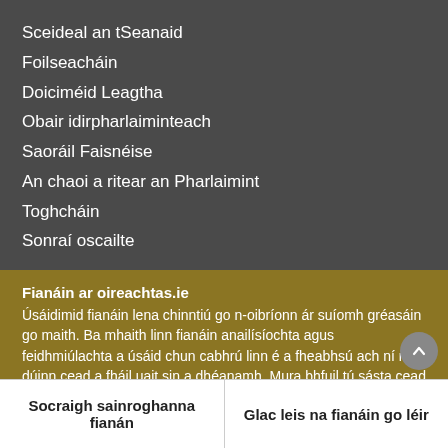Sceideal an tSeanaid
Foilseacháin
Doiciméid Leagtha
Obair idirpharlaiminteach
Saoráil Faisnéise
An chaoi a ritear an Pharlaimint
Toghcháin
Sonraí oscailte
Fianáin ar oireachtas.ie
Úsáidimid fianáin lena chinntiú go n-oibríonn ár suíomh gréasáin go maith. Ba mhaith linn fianáin anailísíochta agus feidhmiúlachta a úsáid chun cabhrú linn é a fheabhsú ach ní mór dúinn cead a fháil uait sin a dhéanamh. Mura bhfuil tú sásta cead a thabhairt, ní úsáidfear ach fianáin riachtanacha. Léigh tuileadh faoinár bhfianáin
Socraigh sainroghanna fianán
Glac leis na fianáin go léir